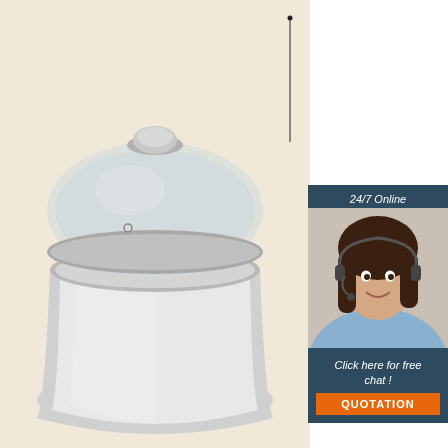[Figure (photo): Stainless steel pot/saucepan with a glass lid on a beige background. A horizontal measurement arrow below shows 14cm width.]
[Figure (photo): Chat widget showing a female customer service agent wearing a headset, with text 24/7 Online, Click here for free chat!, and a QUOTATION button.]
Amazon.com: Stainless Steel Lunch Box Food
Stainless Steel Bento Lunch Box Food Storage Container with Food-Grade Leak Proof Silicone Lid Metal Snack Lunch Box for Kids and Adults by Lunchet Brand: Lunchet 4.2 out of 5 stars 34